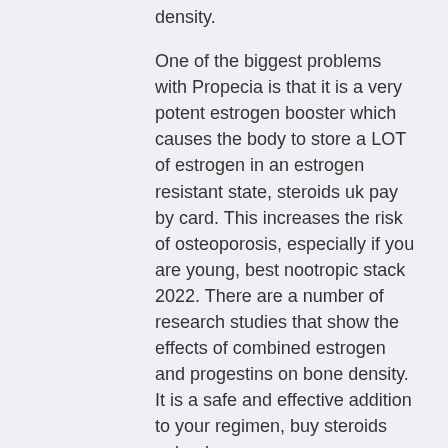density.
One of the biggest problems with Propecia is that it is a very potent estrogen booster which causes the body to store a LOT of estrogen in an estrogen resistant state, steroids uk pay by card. This increases the risk of osteoporosis, especially if you are young, best nootropic stack 2022. There are a number of research studies that show the effects of combined estrogen and progestins on bone density. It is a safe and effective addition to your regimen, buy steroids poland.
There are also anecdotal reports of Testosterone Enanthate & Testosterone Cypionate being successful at reducing the risk of early-onset dementia, which affects about 10-25% of the population with age (Foster 2013).